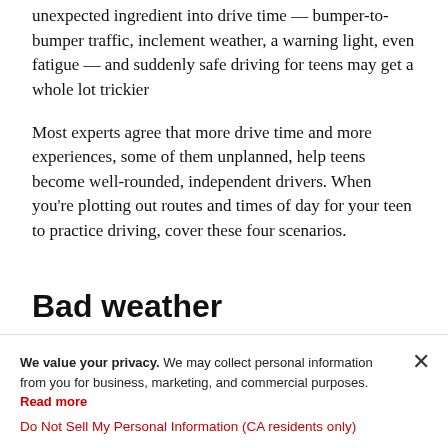unexpected ingredient into drive time — bumper-to-bumper traffic, inclement weather, a warning light, even fatigue — and suddenly safe driving for teens may get a whole lot trickier
Most experts agree that more drive time and more experiences, some of them unplanned, help teens become well-rounded, independent drivers. When you're plotting out routes and times of day for your teen to practice driving, cover these four scenarios.
Bad weather
Most teens probably learn textbook answers to questions about how precipitation affects roads. They may know that
We value your privacy. We may collect personal information from you for business, marketing, and commercial purposes. Read more
Do Not Sell My Personal Information (CA residents only)